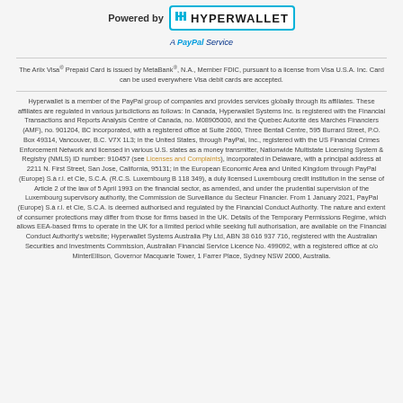[Figure (logo): Powered by Hyperwallet - A PayPal Service logo]
The Ariix Visa® Prepaid Card is issued by MetaBank®, N.A., Member FDIC, pursuant to a license from Visa U.S.A. Inc. Card can be used everywhere Visa debit cards are accepted.
Hyperwallet is a member of the PayPal group of companies and provides services globally through its affiliates. These affiliates are regulated in various jurisdictions as follows: In Canada, Hyperwallet Systems Inc. is registered with the Financial Transactions and Reports Analysis Centre of Canada, no. M08905000, and the Quebec Autorité des Marchés Financiers (AMF), no. 901204, BC incorporated, with a registered office at Suite 2600, Three Bentall Centre, 595 Burrard Street, P.O. Box 49314, Vancouver, B.C. V7X 1L3; in the United States, through PayPal, Inc., registered with the US Financial Crimes Enforcement Network and licensed in various U.S. states as a money transmitter, Nationwide Multistate Licensing System & Registry (NMLS) ID number: 910457 (see Licenses and Complaints), incorporated in Delaware, with a principal address at 2211 N. First Street, San Jose, California, 95131; in the European Economic Area and United Kingdom through PayPal (Europe) S.à r.l. et Cie, S.C.A. (R.C.S. Luxembourg B 118 349), a duly licensed Luxembourg credit institution in the sense of Article 2 of the law of 5 April 1993 on the financial sector, as amended, and under the prudential supervision of the Luxembourg supervisory authority, the Commission de Surveillance du Secteur Financier. From 1 January 2021, PayPal (Europe) S.à r.l. et Cie, S.C.A. is deemed authorised and regulated by the Financial Conduct Authority. The nature and extent of consumer protections may differ from those for firms based in the UK. Details of the Temporary Permissions Regime, which allows EEA-based firms to operate in the UK for a limited period while seeking full authorisation, are available on the Financial Conduct Authority's website; Hyperwallet Systems Australia Pty Ltd, ABN 38 616 937 716, registered with the Australian Securities and Investments Commission, Australian Financial Service Licence No. 499092, with a registered office at c/o MinterEllison, Governor Macquarie Tower, 1 Farrer Place, Sydney NSW 2000, Australia.